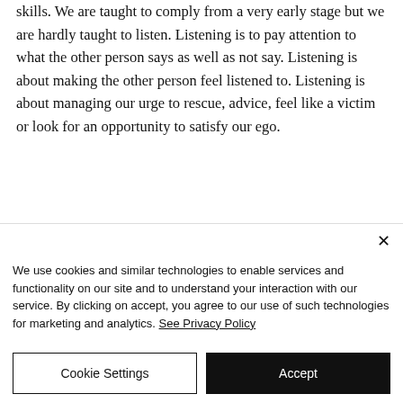skills. We are taught to comply from a very early stage but we are hardly taught to listen. Listening is to pay attention to what the other person says as well as not say. Listening is about making the other person feel listened to. Listening is about managing our urge to rescue, advice, feel like a victim or look for an opportunity to satisfy our ego.
Ask those questions yourself?
We use cookies and similar technologies to enable services and functionality on our site and to understand your interaction with our service. By clicking on accept, you agree to our use of such technologies for marketing and analytics. See Privacy Policy